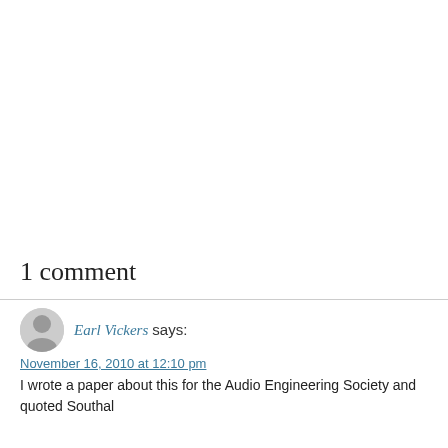1 comment
Earl Vickers says:
November 16, 2010 at 12:10 pm
I wrote a paper about this for the Audio Engineering Society and quoted Southal